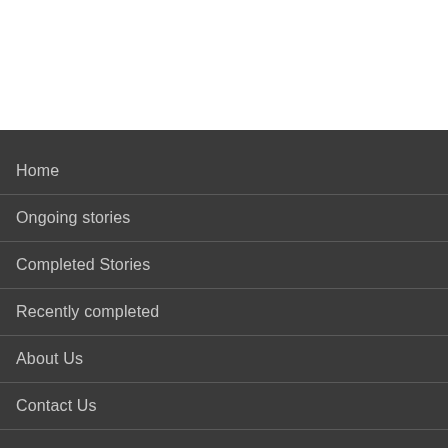Home
Ongoing stories
Completed Stories
Recently completed
About Us
Contact Us
ALL-STORIES